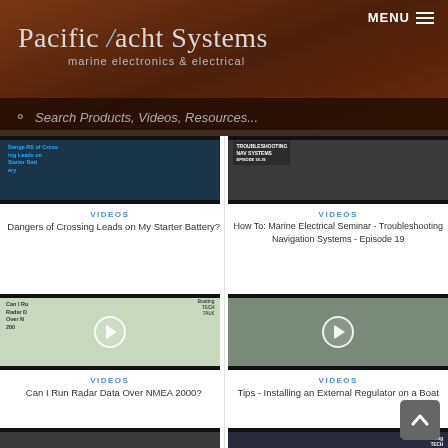[Figure (screenshot): Pacific Yacht Systems website header with logo and navigation menu button on dark wood background]
Search Products, Videos, Resources...
[Figure (screenshot): Video thumbnail for Dangers of Crossing Leads on My Starter Battery]
VIDEOS
Dangers of Crossing Leads on My Starter Battery?
[Figure (screenshot): Video thumbnail for How To: Marine Electrical Seminar - Troubleshooting Navigation Systems - Episode 19]
VIDEOS
How To: Marine Electrical Seminar - Troubleshooting Navigation Systems - Episode 19
[Figure (screenshot): Video thumbnail for Can I Run Radar Data Over NMEA 2000]
VIDEOS
Can I Run Radar Data Over NMEA 2000?
[Figure (screenshot): Video thumbnail for Tips - Installing an External Regulator on a Boat]
VIDEOS
Tips - Installing an External Regulator on a Boat
[Figure (screenshot): Partial video thumbnails at bottom of page]